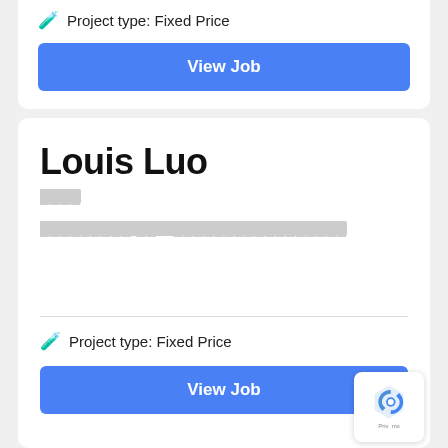🧪 Project type: Fixed Price
View Job
Louis Luo
████
█████████ ██20█████████████████
🧪 Project type: Fixed Price
View Job